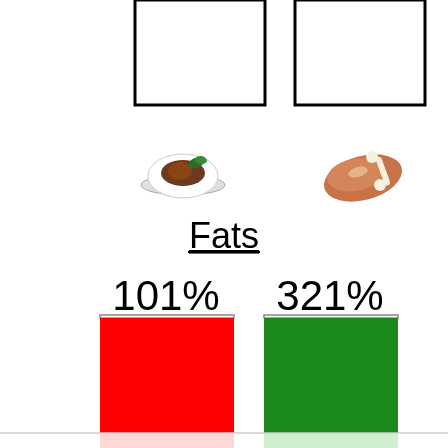[Figure (grouped-bar-chart): Fats]